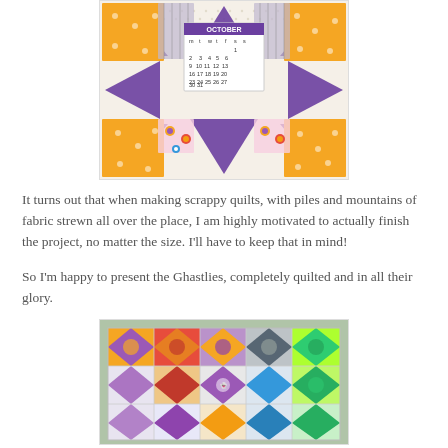[Figure (photo): Close-up of a scrappy quilt block in purple, orange, and floral fabrics with a small October calendar embedded in the center star block.]
It turns out that when making scrappy quilts, with piles and mountains of fabric strewn all over the place, I am highly motivated to actually finish the project, no matter the size. I'll have to keep that in mind!
So I'm happy to present the Ghastlies, completely quilted and in all their glory.
[Figure (photo): A brightly coloured finished quilt hung outdoors showing multiple star and pinwheel blocks in orange, purple, green, red, and grey fabrics.]